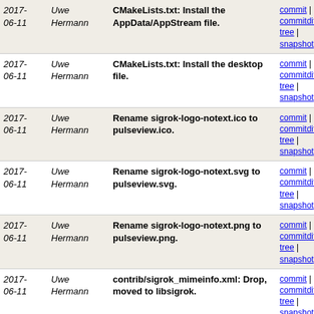| Date | Author | Commit Message | Links |
| --- | --- | --- | --- |
| 2017-06-11 | Uwe Hermann | CMakeLists.txt: Install the AppData/AppStream file. | commit | commitdiff | tree | snapshot |
| 2017-06-11 | Uwe Hermann | CMakeLists.txt: Install the desktop file. | commit | commitdiff | tree | snapshot |
| 2017-06-11 | Uwe Hermann | Rename sigrok-logo-notext.ico to pulseview.ico. | commit | commitdiff | tree | snapshot |
| 2017-06-11 | Uwe Hermann | Rename sigrok-logo-notext.svg to pulseview.svg. | commit | commitdiff | tree | snapshot |
| 2017-06-11 | Uwe Hermann | Rename sigrok-logo-notext.png to pulseview.png. | commit | commitdiff | tree | snapshot |
| 2017-06-11 | Uwe Hermann | contrib/sigrok_mimeinfo.xml: Drop, moved to libsigrok. | commit | commitdiff | tree | snapshot |
| 2017-06-10 | Soeren Apel | Adjust trace view namespace | commit | commitdiff | tree | snapshot |
| 2017-06-10 | Soeren Apel | Move trace view files | commit | commitdiff | tree | snapshot |
| 2017-06-09 | Soeren Apel | DeviceManager: Don't perform scans with DMM drivers | commit | commitdiff | tree | snapshot |
| 2017-06-09 | Soeren Apel | View: Improve 2a9fcd621 by using settings_restored_ | commit | commitdiff | tree | snapshot |
| 2017-... | Soeren Apel | Settings: Add health to startup settings... | commit |